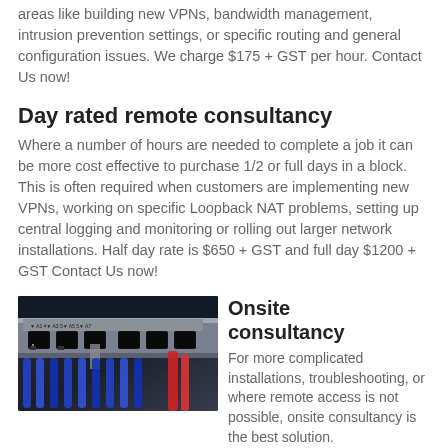areas like building new VPNs, bandwidth management, intrusion prevention settings, or specific routing and general configuration issues.  We charge $175 + GST per hour. Contact Us now!
Day rated remote consultancy
Where a number of hours are needed to complete a job it can be more cost effective to purchase 1/2 or full days in a block.  This is often required when customers are implementing new VPNs, working on specific Loopback NAT problems, setting up central logging and monitoring or rolling out larger network installations.  Half day rate is $650 + GST and full day $1200 + GST Contact Us now!
[Figure (photo): Close-up photo of network switch ports with ethernet cables plugged in, dark blue/grey tones with red cable visible]
Onsite consultancy
For more complicated installations, troubleshooting, or where remote access is not possible, onsite consultancy is the best solution.  This can be provided by our qualified technicians to the